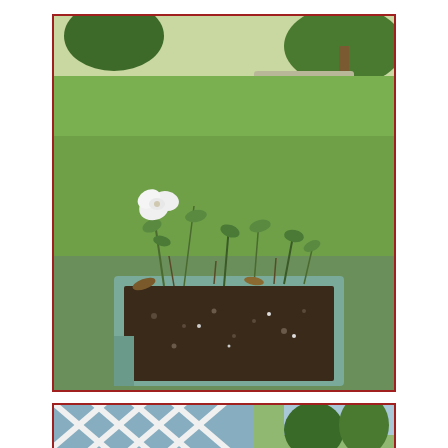[Figure (photo): A garden scene showing a close-up of a blue/teal planter box filled with dark soil and petunia plants, one white flower visible, with a green lawn and trees in the background.]
The petunias are making a comeback.
[Figure (photo): A partial view of a white lattice fence with trees and sky visible behind it.]